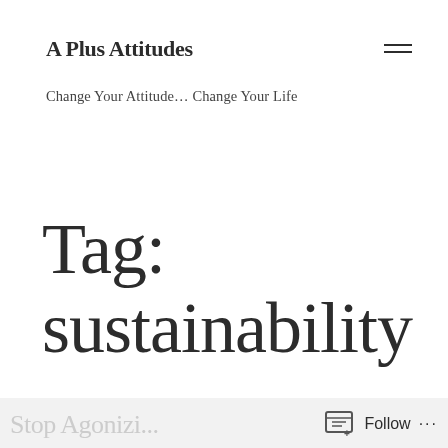A Plus Attitudes
Change Your Attitude… Change Your Life
Tag: sustainability
Follow